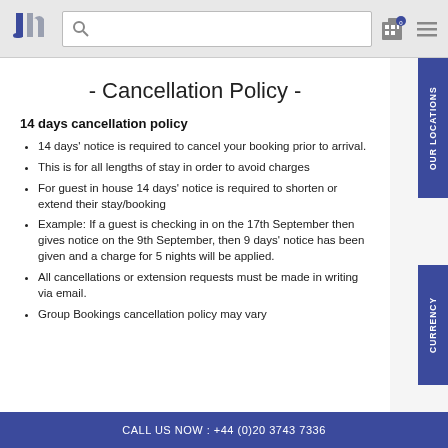JN logo, search bar, hotel icon, menu icon
- Cancellation Policy -
14 days cancellation policy
14 days' notice is required to cancel your booking prior to arrival.
This is for all lengths of stay in order to avoid charges
For guest in house 14 days' notice is required to shorten or extend their stay/booking
Example: If a guest is checking in on the 17th September then gives notice on the 9th September, then 9 days' notice has been given and a charge for 5 nights will be applied.
All cancellations or extension requests must be made in writing via email.
Group Bookings cancellation policy may vary
CALL US NOW : +44 (0)20 3743 7336